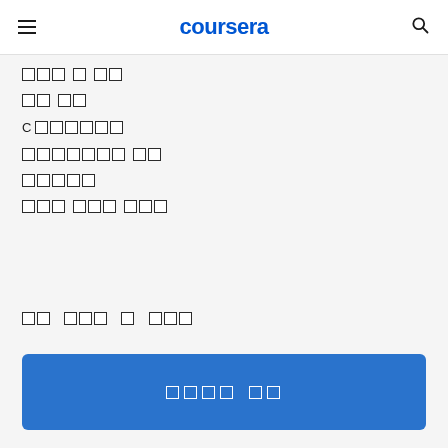coursera
[tofu characters]
[tofu characters]
C [tofu characters]
[tofu characters]
[tofu characters]
[tofu characters]
[tofu characters - bold heading]
[tofu characters - CTA button text]